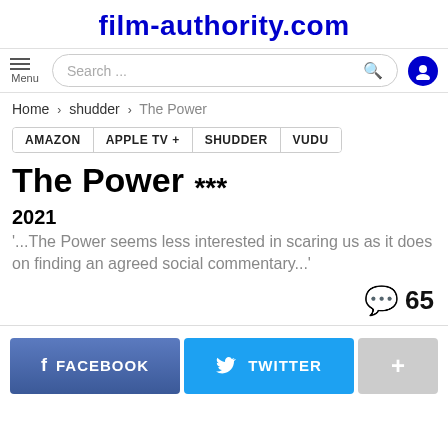film-authority.com
Menu | Search ... | [user icon]
Home › shudder › The Power
AMAZON   APPLE TV +   SHUDDER   VUDU
The Power ***
2021
'...The Power seems less interested in scaring us as it does on finding an agreed social commentary...'
💬 65
f FACEBOOK   TWITTER   +